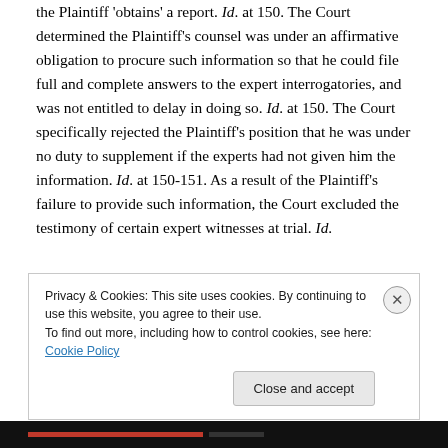the Plaintiff 'obtains' a report. Id. at 150. The Court determined the Plaintiff's counsel was under an affirmative obligation to procure such information so that he could file full and complete answers to the expert interrogatories, and was not entitled to delay in doing so. Id. at 150. The Court specifically rejected the Plaintiff's position that he was under no duty to supplement if the experts had not given him the information. Id. at 150-151. As a result of the Plaintiff's failure to provide such information, the Court excluded the testimony of certain expert witnesses at trial. Id.
Privacy & Cookies: This site uses cookies. By continuing to use this website, you agree to their use.
To find out more, including how to control cookies, see here: Cookie Policy